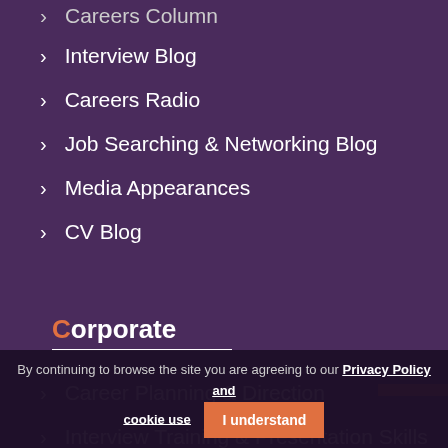Careers Column
Interview Blog
Careers Radio
Job Searching & Networking Blog
Media Appearances
CV Blog
Corporate
Career Planning & Direction
Interview Training & Presentation Skills
CVs & Form Writing
By continuing to browse the site you are agreeing to our Privacy Policy and cookie use
I understand